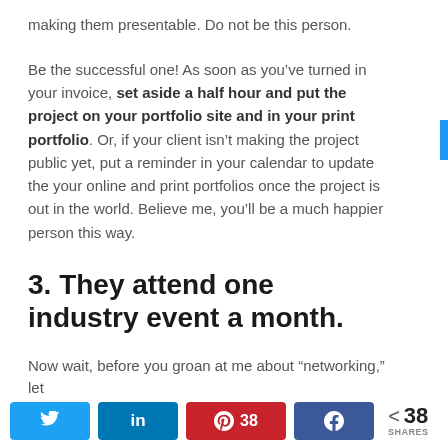making them presentable. Do not be this person.
Be the successful one! As soon as you’ve turned in your invoice, set aside a half hour and put the project on your portfolio site and in your print portfolio. Or, if your client isn’t making the project public yet, put a reminder in your calendar to update the your online and print portfolios once the project is out in the world. Believe me, you’ll be a much happier person this way.
3. They attend one industry event a month.
Now wait, before you groan at me about “networking,” let